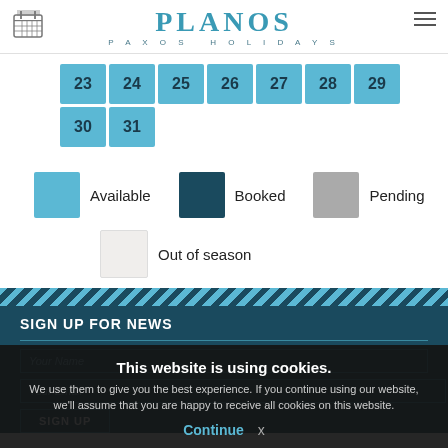PLANOS PAXOS HOLIDAYS
[Figure (other): Calendar showing dates 23-31 as available (light blue) cells]
[Figure (infographic): Legend with four items: Available (light blue), Booked (dark teal), Pending (gray), Out of season (very light/white)]
SIGN UP FOR NEWS
This website is using cookies.
We use them to give you the best experience. If you continue using our website, we'll assume that you are happy to receive all cookies on this website.
Continue  x